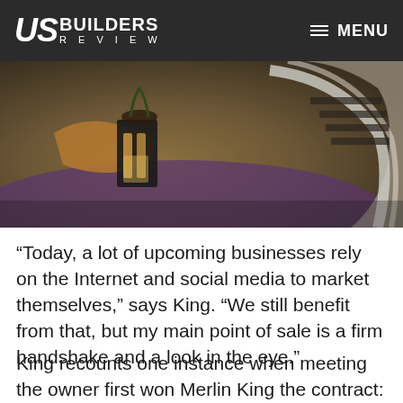US BUILDERS REVIEW | MENU
[Figure (photo): Interior photo of a modern lobby or reception area with curved wood desk, purple carpet, decorative lighting, and sweeping architectural staircase with curved white railing]
“Today, a lot of upcoming businesses rely on the Internet and social media to market themselves,” says King. “We still benefit from that, but my main point of sale is a firm handshake and a look in the eye.”
King recounts one instance when meeting the owner first won Merlin King the contract: “We did